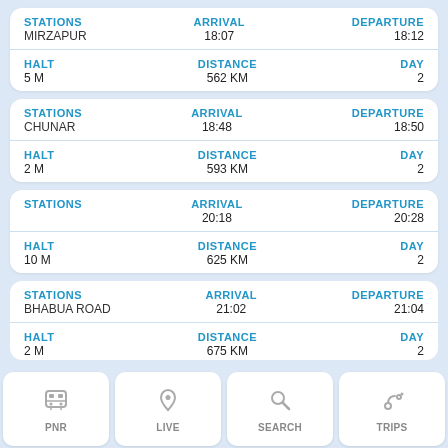| STATIONS | ARRIVAL | DEPARTURE |
| --- | --- | --- |
| MIRZAPUR | 18:07 | 18:12 |
| HALT | DISTANCE | DAY |
| --- | --- | --- |
| 5 M | 562 KM | 2 |
| STATIONS | ARRIVAL | DEPARTURE |
| --- | --- | --- |
| CHUNAR | 18:48 | 18:50 |
| HALT | DISTANCE | DAY |
| --- | --- | --- |
| 2 M | 593 KM | 2 |
| STATIONS | ARRIVAL | DEPARTURE |
| --- | --- | --- |
|  | 20:18 | 20:28 |
| HALT | DISTANCE | DAY |
| --- | --- | --- |
| 10 M | 625 KM | 2 |
| STATIONS | ARRIVAL | DEPARTURE |
| --- | --- | --- |
| BHABUA ROAD | 21:02 | 21:04 |
| HALT | DISTANCE | DAY |
| --- | --- | --- |
| 2 M | 675 KM | 2 |
PNR   LIVE   SEARCH   TRIPS